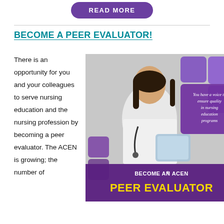READ MORE
BECOME A PEER EVALUATOR!
There is an opportunity for you and your colleagues to serve nursing education and the nursing profession by becoming a peer evaluator. The ACEN is growing; the number of
[Figure (illustration): Promotional image for ACEN Peer Evaluator program showing a female nurse in white coat with stethoscope reading a tablet. Purple decorative squares in background. Text overlay reads: 'You have a voice to ensure quality in nursing education programs' and 'BECOME AN ACEN® PEER EVALUATOR' in yellow and white text on purple background.]